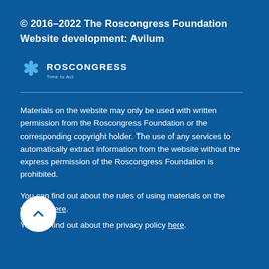© 2016–2022 The Roscongress Foundation
Website development: Avilum
[Figure (logo): Roscongress logo with snowflake icon and tagline 'Time to Act']
Materials on the website may only be used with written permission from the Roscongress Foundation or the corresponding copyright holder. The use of any services to automatically extract information from the website without the express permission of the Roscongress Foundation is prohibited.
You can find out about the rules of using materials on the website here.
You can find out about the privacy policy here.